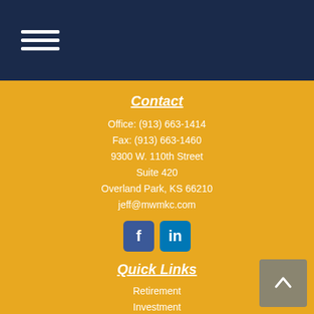Navigation menu icon (hamburger)
Contact
Office: (913) 663-1414
Fax: (913) 663-1460
9300 W. 110th Street
Suite 420
Overland Park, KS 66210
jeff@mwmkc.com
[Figure (other): Social media icons: Facebook (f) and LinkedIn (in)]
Quick Links
Retirement
Investment
Estate
Insurance
Tax
Money
Lifestyle